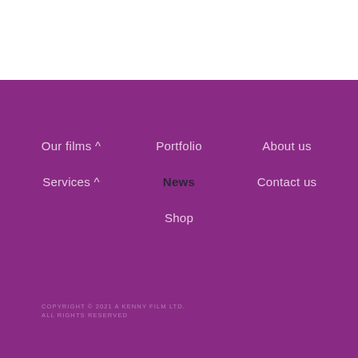Our films ^
Portfolio
About us
Services ^
News
Contact us
Shop
COPYRIGHT © 2021 A KENNY FILM LTD. ALL RIGHTS RESERVED